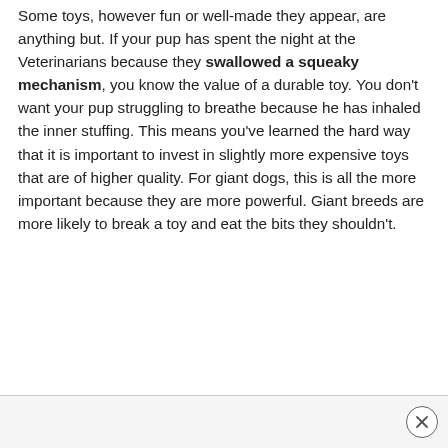Some toys, however fun or well-made they appear, are anything but. If your pup has spent the night at the Veterinarians because they swallowed a squeaky mechanism, you know the value of a durable toy. You don't want your pup struggling to breathe because he has inhaled the inner stuffing. This means you've learned the hard way that it is important to invest in slightly more expensive toys that are of higher quality. For giant dogs, this is all the more important because they are more powerful. Giant breeds are more likely to break a toy and eat the bits they shouldn't.